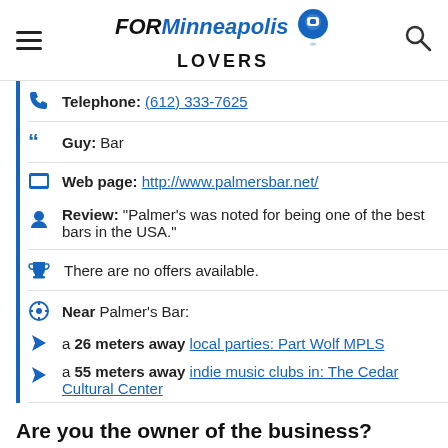FOR Minneapolis LOVERS
Telephone: (612) 333-7625
Guy: Bar
Web page: http://www.palmersbar.net/
Review: "Palmer's was noted for being one of the best bars in the USA."
There are no offers available.
Near Palmer's Bar:
a 26 meters away local parties: Part Wolf MPLS
a 55 meters away indie music clubs in: The Cedar Cultural Center
Are you the owner of the business? PROMOTE IT!